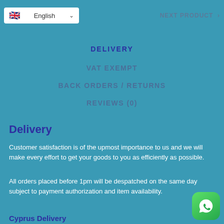English | NEXT PRODUCT
DELIVERY
VAT EXEMPT
BACK ORDERS / RETURNS
REVIEWS (0)
Delivery
Customer satisfaction is of the upmost importance to us and we will make every effort to get your goods to you as efficiently as possible.
All orders placed before 1pm will be despatched on the same day subject to payment authorization and item availability.
Cyprus Delivery